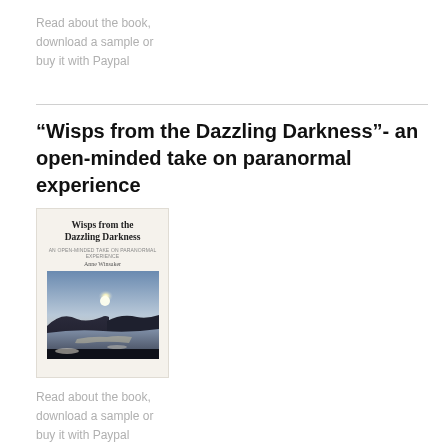Read about the book, download a sample or buy it with Paypal
“Wisps from the Dazzling Darkness”- an open-minded take on paranormal experience
[Figure (illustration): Book cover of 'Wisps from the Dazzling Darkness' by Anne Winsaker, showing the title text, subtitle 'An Open-Minded Take on Paranormal Experience', author name, and a photograph of a sunlit landscape with hills and water.]
Read about the book, download a sample or buy it with Paypal